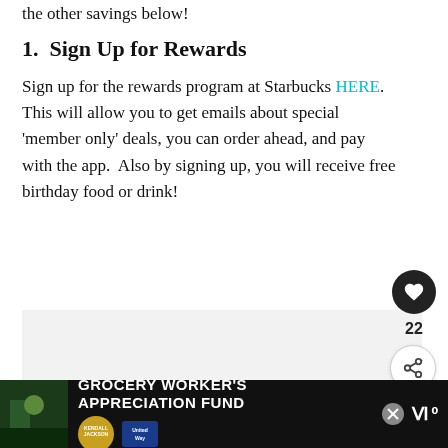the other savings below!
1.  Sign Up for Rewards
Sign up for the rewards program at Starbucks HERE. This will allow you to get emails about special 'member only' deals, you can order ahead, and pay with the app.  Also by signing up, you will receive free birthday food or drink!
[Figure (screenshot): Gray placeholder box for embedded content]
[Figure (infographic): WHAT'S NEXT arrow with thumbnail and text: Savings Guarantee a...]
[Figure (infographic): Bottom advertisement bar: GROCERY WORKER'S APPRECIATION FUND with Kendall Jackson and United Way logos]